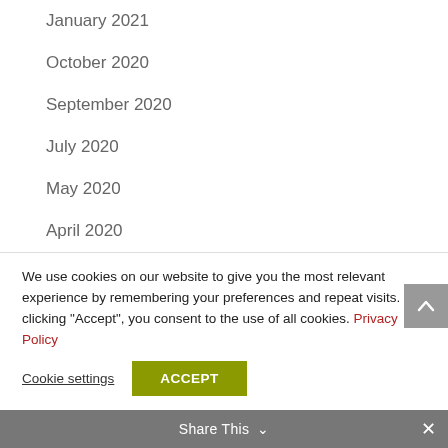January 2021
October 2020
September 2020
July 2020
May 2020
April 2020
March 2020
January 2020
November 2019
We use cookies on our website to give you the most relevant experience by remembering your preferences and repeat visits. By clicking “Accept”, you consent to the use of all cookies. Privacy Policy
Cookie settings  ACCEPT
Share This  ∨  ×